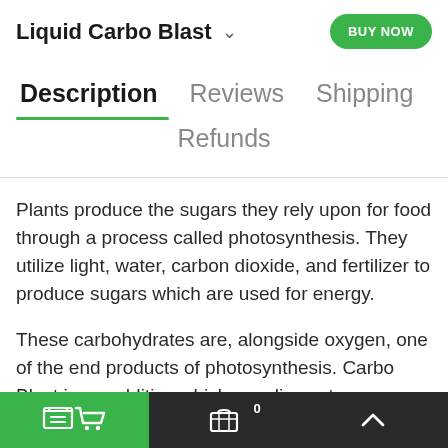Liquid Carbo Blast
Description
Reviews
Shipping
Refunds
Plants produce the sugars they rely upon for food through a process called photosynthesis. They utilize light, water, carbon dioxide, and fertilizer to produce sugars which are used for energy.
These carbohydrates are, alongside oxygen, one of the end products of photosynthesis. Carbo Blast is an additive which supplies extra carbohydrates to plants. Feeding additional
0